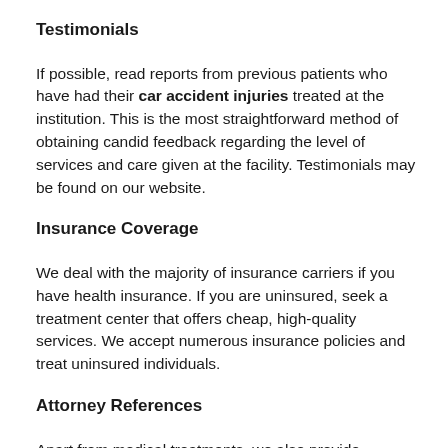Testimonials
If possible, read reports from previous patients who have had their car accident injuries treated at the institution. This is the most straightforward method of obtaining candid feedback regarding the level of services and care given at the facility. Testimonials may be found on our website.
Insurance Coverage
We deal with the majority of insurance carriers if you have health insurance. If you are uninsured, seek a treatment center that offers cheap, high-quality services. We accept numerous insurance policies and treat uninsured individuals.
Attorney References
Apart from medical treatments, we also provide references to local personal injury attorneys. Our car